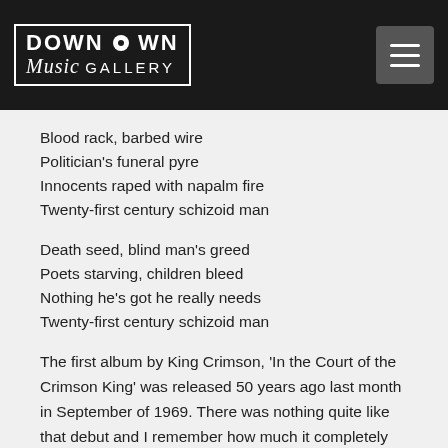Downtown Music Gallery
Blood rack, barbed wire
Politician's funeral pyre
Innocents raped with napalm fire
Twenty-first century schizoid man
Death seed, blind man's greed
Poets starving, children bleed
Nothing he's got he really needs
Twenty-first century schizoid man
The first album by King Crimson, 'In the Court of the Crimson King' was released 50 years ago last month in September of 1969. There was nothing quite like that debut and I remember how much it completely blew the minds of anyone who checked it out back then. It still rings true today! 1969 was the year of the Woodstock and Altamont music festivals/concerts. One had a more positive influence (Woodstock) and the other, pretty negative vibes. The Manson murders also took place that summer. 1969 was also the last year of the 1960's, the end of